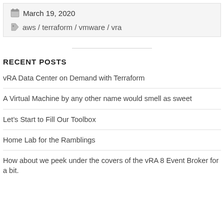March 19, 2020
aws / terraform / vmware / vra
RECENT POSTS
vRA Data Center on Demand with Terraform
A Virtual Machine by any other name would smell as sweet
Let's Start to Fill Our Toolbox
Home Lab for the Ramblings
How about we peek under the covers of the vRA 8 Event Broker for a bit.